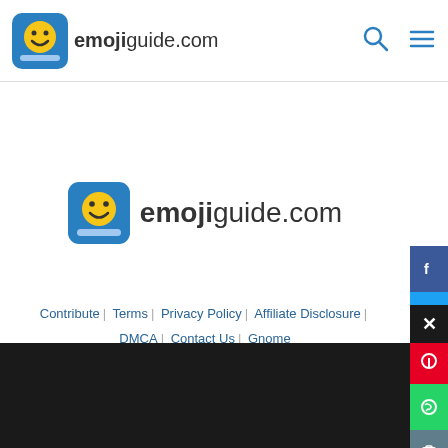emojiguide.com
[Figure (logo): emojiguide.com logo with smiley face icon centered on page]
Contribute | Terms | Privacy Policy | Affiliate Disclosure | DMCA | Contact Us | Gnome
English | 日本語 | Nederlands | Français | Deutsch | 中文简体 | Indonesia | 한국어 | Português | Русский | Español | العربية | Italiano | 繁體 | Tagalog